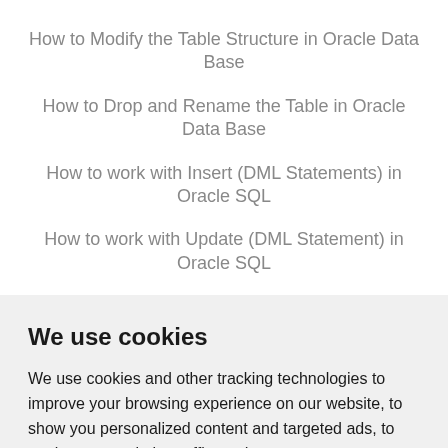How to Modify the Table Structure in Oracle Data Base
How to Drop and Rename the Table in Oracle Data Base
How to work with Insert (DML Statements) in Oracle SQL
How to work with Update (DML Statement) in Oracle SQL
We use cookies
We use cookies and other tracking technologies to improve your browsing experience on our website, to show you personalized content and targeted ads, to analyze our website traffic, and